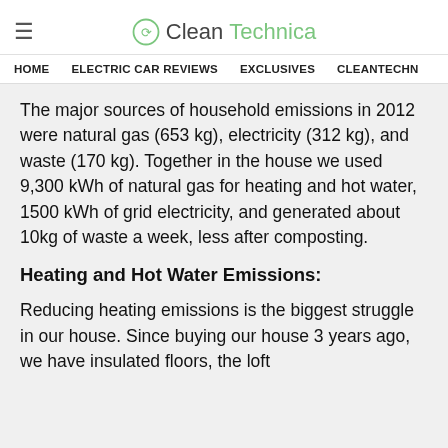≡  CleanTechnica
HOME  ELECTRIC CAR REVIEWS  EXCLUSIVES  CLEANTECHN
The major sources of household emissions in 2012 were natural gas (653 kg), electricity (312 kg), and waste (170 kg). Together in the house we used 9,300 kWh of natural gas for heating and hot water, 1500 kWh of grid electricity, and generated about 10kg of waste a week, less after composting.
Heating and Hot Water Emissions:
Reducing heating emissions is the biggest struggle in our house. Since buying our house 3 years ago, we have insulated floors, the loft